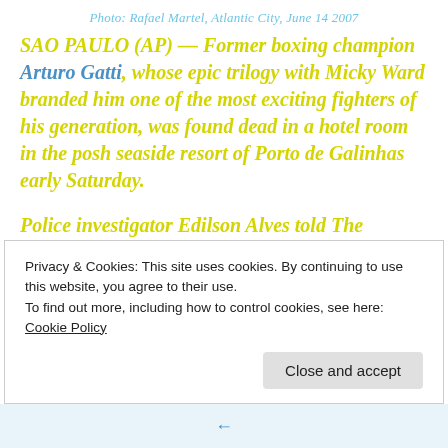Photo: Rafael Martel, Atlantic City, June 14 2007
SAO PAULO (AP) — Former boxing champion Arturo Gatti, whose epic trilogy with Micky Ward branded him one of the most exciting fighters of his generation, was found dead in a hotel room in the posh seaside resort of Porto de Galinhas early Saturday.
Police investigator Edilson Alves told The Associated Press that the body of the former junior welterweight champ was discovered in his room at the tourist resort.
Privacy & Cookies: This site uses cookies. By continuing to use this website, you agree to their use.
To find out more, including how to control cookies, see here: Cookie Policy
Close and accept